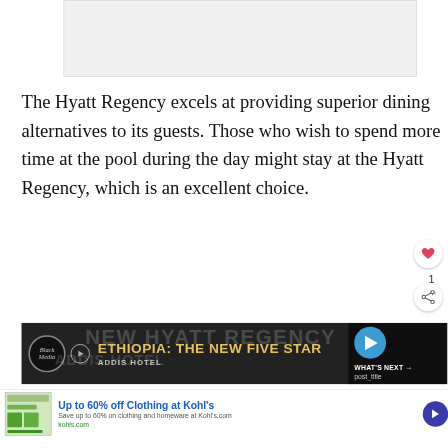[Figure (other): Gray placeholder image box at top of page]
The Hyatt Regency excels at providing superior dining alternatives to its guests. Those who wish to spend more time at the pool during the day might stay at the Hyatt Regency, which is an excellent choice.
[Figure (screenshot): Video thumbnail strip showing 'NEW HYATT REGENCY' and 'ETHIOPIA: THE NEW FIVE STAR' text with Black Media logo and What's Next panel with post_title]
[Figure (screenshot): Advertisement banner: Up to 60% off Clothing at Kohl's - Save up to 60% on clothing and homeware at Kohl's.com - kohls.com]